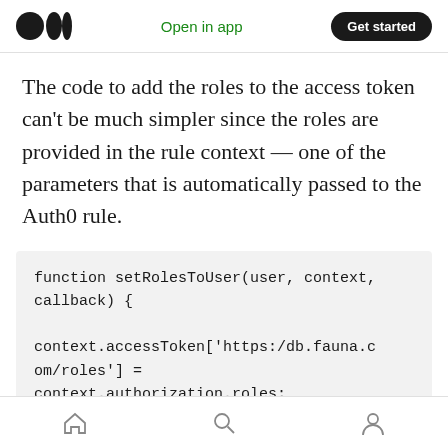Open in app  Get started
The code to add the roles to the access token can't be much simpler since the roles are provided in the rule context — one of the parameters that is automatically passed to the Auth0 rule.
[Figure (screenshot): Code block showing JavaScript function setRolesToUser with context.accessToken and return callback]
home search profile navigation icons